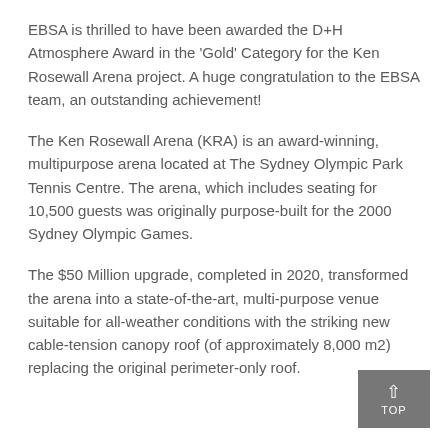EBSA is thrilled to have been awarded the D+H Atmosphere Award in the ‘Gold’ Category for the Ken Rosewall Arena project. A huge congratulation to the EBSA team, an outstanding achievement!
The Ken Rosewall Arena (KRA) is an award-winning, multipurpose arena located at The Sydney Olympic Park Tennis Centre. The arena, which includes seating for 10,500 guests was originally purpose-built for the 2000 Sydney Olympic Games.
The $50 Million upgrade, completed in 2020, transformed the arena into a state-of-the-art, multi-purpose venue suitable for all-weather conditions with the striking new cable-tension canopy roof (of approximately 8,000 m2) replacing the original perimeter-only roof.